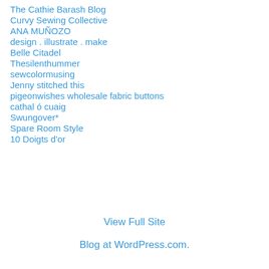The Cathie Barash Blog
Curvy Sewing Collective
ANA MUÑOZO
design . illustrate . make
Belle Citadel
Thesilenthummer
sewcolormusing
Jenny stitched this
pigeonwishes wholesale fabric buttons
cathal ó cuaig
Swungover*
Spare Room Style
10 Doigts d'or
View Full Site
Blog at WordPress.com.